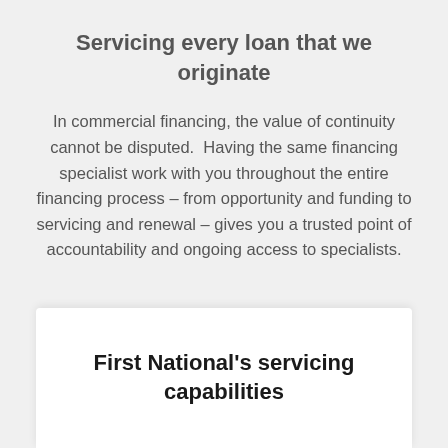Servicing every loan that we originate
In commercial financing, the value of continuity cannot be disputed.  Having the same financing specialist work with you throughout the entire financing process – from opportunity and funding to servicing and renewal – gives you a trusted point of accountability and ongoing access to specialists.
First National's servicing capabilities